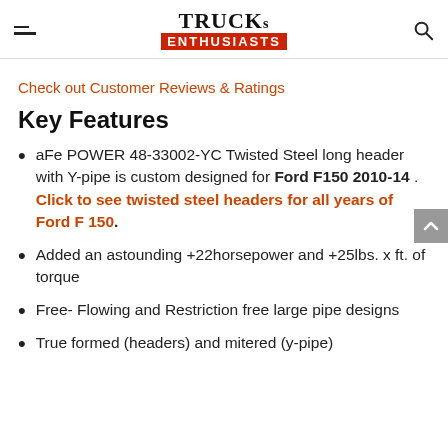TRUCKs ENTHUSIASTS
Check out Customer Reviews & Ratings
Key Features
aFe POWER 48-33002-YC Twisted Steel long header with Y-pipe is custom designed for Ford F150 2010-14 . Click to see twisted steel headers for all years of Ford F 150.
Added an astounding +22horsepower and +25lbs. x ft. of torque
Free- Flowing and Restriction free large pipe designs
True formed (headers) and mitered (y-pipe)